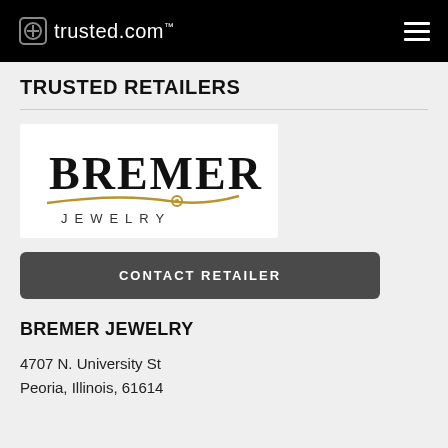trusted.com™
TRUSTED RETAILERS
[Figure (logo): Bremer Jewelry logo — large serif BREMER text above a gold swoosh line with a small circle accent, JEWELRY in spaced capitals below]
CONTACT RETAILER
BREMER JEWELRY
4707 N. University St
Peoria, Illinois, 61614